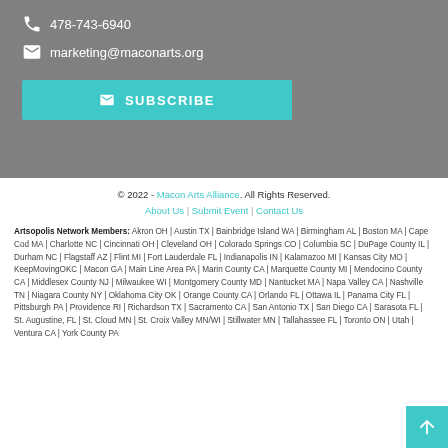478-743-6940
marketing@maconarts.org
SUBSCRIBE
© 2022 - Macon Arts Alliance. All Rights Reserved. About Us | Submit Event | Contact Us
Artsopolis Network Members: Akron OH | Austin TX | Bainbridge Island WA | Birmingham AL | Boston MA | Cape Cod MA | Charlotte NC | Cincinnati OH | Cleveland OH | Colorado Springs CO | Columbia SC | DuPage County IL | Durham NC | Flagstaff AZ | Flint MI | Fort Lauderdale FL | Indianapolis IN | Kalamazoo MI | Kansas City MO | KeepMovingOKC | Macon GA | Main Line Area PA | Marin County CA | Marquette County MI | Mendocino County CA | Middlesex County NJ | Milwaukee WI | Montgomery County MD | Nantucket MA | Napa Valley CA | Nashville TN | Niagara County NY | Oklahoma City OK | Orange County CA | Orlando FL | Ottawa IL | Panama City FL | Pittsburgh PA | Providence RI | Richardson TX | Sacramento CA | San Antonio TX | San Diego CA | Sarasota FL | St. Augustine, FL | St. Cloud MN | St. Croix Valley MN/WI | Stillwater MN | Tallahassee FL | Toronto ON | Utah | Ventura CA | York County PA